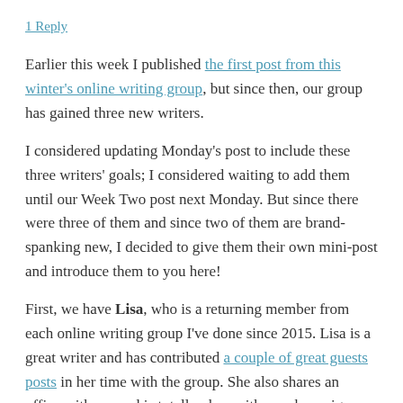1 Reply
Earlier this week I published the first post from this winter's online writing group, but since then, our group has gained three new writers.
I considered updating Monday's post to include these three writers' goals; I considered waiting to add them until our Week Two post next Monday. But since there were three of them and since two of them are brand-spanking new, I decided to give them their own mini-post and introduce them to you here!
First, we have Lisa, who is a returning member from each online writing group I've done since 2015. Lisa is a great writer and has contributed a couple of great guests posts in her time with the group. She also shares an office with me and is totally okay with my shenanigans, which makes her a